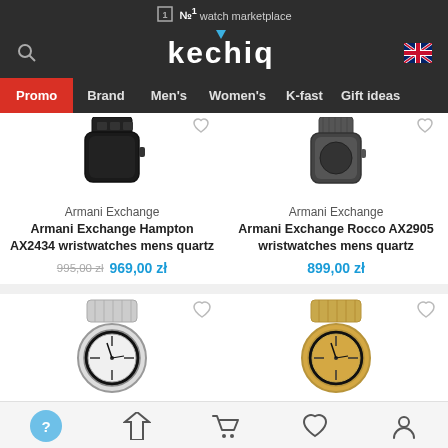№1 watch marketplace
[Figure (logo): Kechiq logo with blue triangle accent on dark background]
Promo | Brand | Men's | Women's | K-fast | Gift ideas
[Figure (photo): Armani Exchange Hampton AX2434 wristwatch - black metal bracelet watch]
Armani Exchange
Armani Exchange Hampton AX2434 wristwatches mens quartz
995,00 zł  969,00 zł
[Figure (photo): Armani Exchange Rocco AX2905 wristwatch - dark mesh bracelet watch]
Armani Exchange
Armani Exchange Rocco AX2905 wristwatches mens quartz
899,00 zł
[Figure (photo): Silver/white Armani Exchange wristwatch with metal bracelet]
[Figure (photo): Gold Armani Exchange wristwatch with gold metal bracelet]